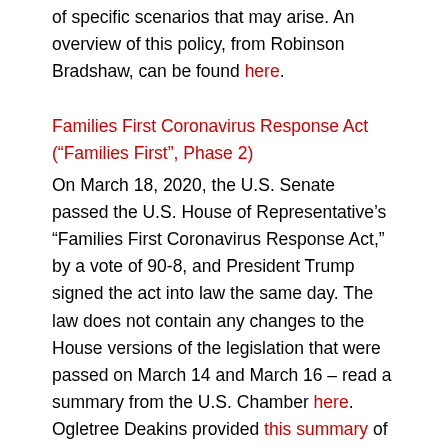of specific scenarios that may arise. An overview of this policy, from Robinson Bradshaw, can be found here.
Families First Coronavirus Response Act (“Families First”, Phase 2)
On March 18, 2020, the U.S. Senate passed the U.S. House of Representative’s “Families First Coronavirus Response Act,” by a vote of 90-8, and President Trump signed the act into law the same day. The law does not contain any changes to the House versions of the legislation that were passed on March 14 and March 16 – read a summary from the U.S. Chamber here. Ogletree Deakins provided this summary of the legislation’s impact on employers and the U.S. Chamber shared What Businesses Need to Know.